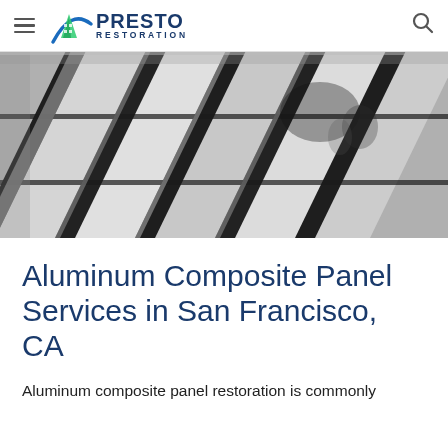Presto Restoration
[Figure (photo): Black and white close-up photograph of aluminum composite panel cladding on a building facade, showing diagonal panel joints and reflections]
Aluminum Composite Panel Services in San Francisco, CA
Aluminum composite panel restoration is commonly